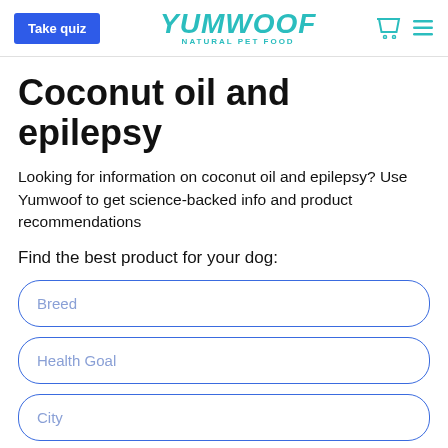Take quiz | YUMWOOF NATURAL PET FOOD
Coconut oil and epilepsy
Looking for information on coconut oil and epilepsy? Use Yumwoof to get science-backed info and product recommendations
Find the best product for your dog:
Breed
Health Goal
City